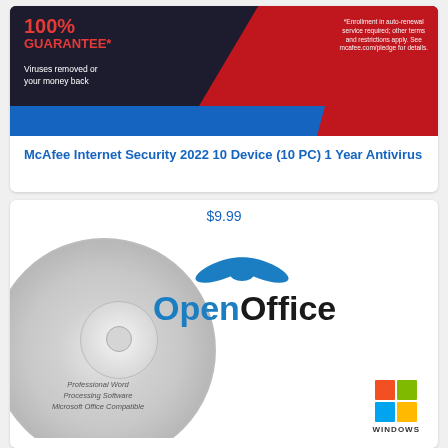[Figure (photo): McAfee Internet Security 2022 product box image showing 100% GUARANTEE badge, red and dark background with blue stripe, and enrollment terms text]
McAfee Internet Security 2022 10 Device (10 PC) 1 Year Antivirus
$9.99
[Figure (photo): OpenOffice software CD disc image showing the OpenOffice logo with blue seagull icon, disc with Professional Word Processing Software Microsoft Office Compatible text, and Windows logo]